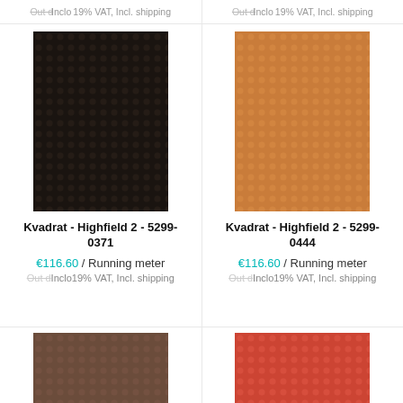Out d Inclo 19% VAT, Incl. shipping
Out d Inclo 19% VAT, Incl. shipping
[Figure (photo): Dark brown/black fabric swatch with subtle dot pattern texture - Kvadrat Highfield 2 5299-0371]
[Figure (photo): Tan/caramel orange fabric swatch with subtle dot pattern texture - Kvadrat Highfield 2 5299-0444]
Kvadrat - Highfield 2 - 5299-0371
Kvadrat - Highfield 2 - 5299-0444
€116.60 / Running meter
€116.60 / Running meter
Out d Inclo 19% VAT, Incl. shipping
Out d Inclo 19% VAT, Incl. shipping
[Figure (photo): Brown/taupe fabric swatch with subtle dot pattern texture]
[Figure (photo): Coral/red-orange fabric swatch with subtle dot pattern texture]